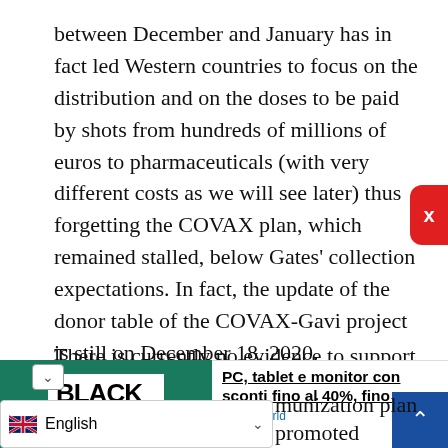between December and January has in fact led Western countries to focus on the distribution and on the doses to be paid by shots from hundreds of millions of euros to pharmaceuticals (with very different costs as we will see later) thus forgetting the COVAX plan, which remained stalled, below Gates' collection expectations. In fact, the update of the donor table of the COVAX-Gavi project is still on December 18, 2020.
There is currently no evidence to support a relation between the stop to donations and
[Figure (photo): Advertisement image: Black to School promotion with laptop and colorful books on green background]
PC, tablet e monitor con sconti fino al 40%, fino a.. MediaWorld munization plan promoted